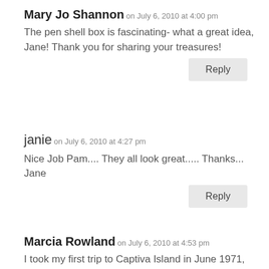Mary Jo Shannon on July 6, 2010 at 4:00 pm
The pen shell box is fascinating- what a great idea, Jane! Thank you for sharing your treasures!
Reply
janie on July 6, 2010 at 4:27 pm
Nice Job Pam.... They all look great..... Thanks... Jane
Reply
Marcia Rowland on July 6, 2010 at 4:53 pm
I took my first trip to Captiva Island in June 1971, and gathered my first sea shells at that time.